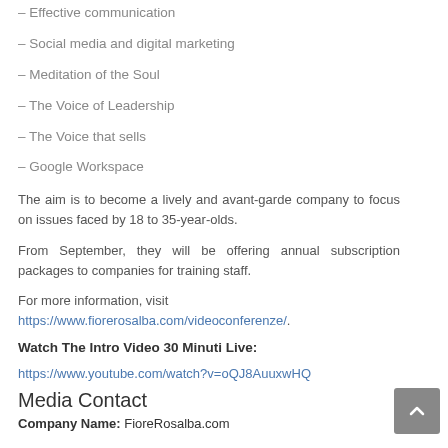– Effective communication
– Social media and digital marketing
– Meditation of the Soul
– The Voice of Leadership
– The Voice that sells
– Google Workspace
The aim is to become a lively and avant-garde company to focus on issues faced by 18 to 35-year-olds.
From September, they will be offering annual subscription packages to companies for training staff.
For more details, visit https://www.fiorerosalba.com/videoconferenze/.
Watch The Intro Video 30 Minuti Live:
https://www.youtube.com/watch?v=oQJ8AuuxwHQ
Media Contact
Company Name: FioreRosalba.com